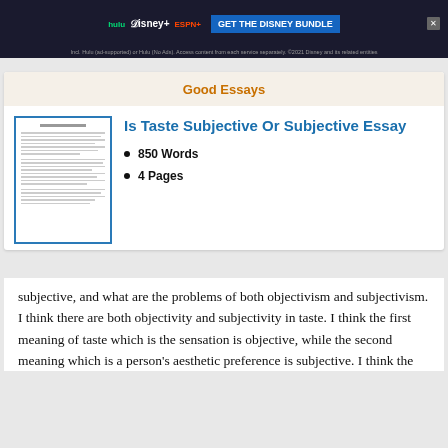[Figure (screenshot): Disney Bundle advertisement banner with Hulu, Disney+, ESPN+ logos and GET THE DISNEY BUNDLE call to action]
Good Essays
[Figure (illustration): Thumbnail preview of an essay document page]
Is Taste Subjective Or Subjective Essay
850 Words
4 Pages
subjective, and what are the problems of both objectivism and subjectivism. I think there are both objectivity and subjectivity in taste. I think the first meaning of taste which is the sensation is objective, while the second meaning which is a person's aesthetic preference is subjective. I think the